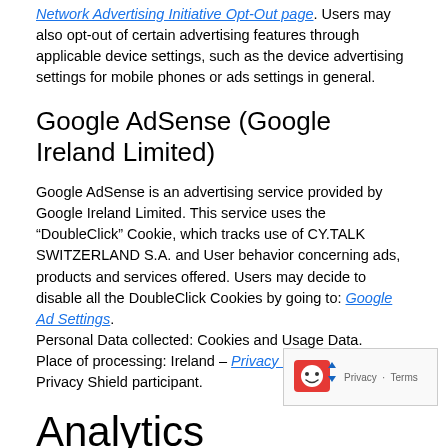Network Advertising Initiative Opt-Out page. Users may also opt-out of certain advertising features through applicable device settings, such as the device advertising settings for mobile phones or ads settings in general.
Google AdSense (Google Ireland Limited)
Google AdSense is an advertising service provided by Google Ireland Limited. This service uses the “DoubleClick” Cookie, which tracks use of CY.TALK SWITZERLAND S.A. and User behavior concerning ads, products and services offered. Users may decide to disable all the DoubleClick Cookies by going to: Google Ad Settings. Personal Data collected: Cookies and Usage Data. Place of processing: Ireland – Privacy Policy –Opt Out. Privacy Shield participant.
Analytics
The services contained in this section enable the Owner to monitor and analyze web traffic and can be used to keep track of User behavior.